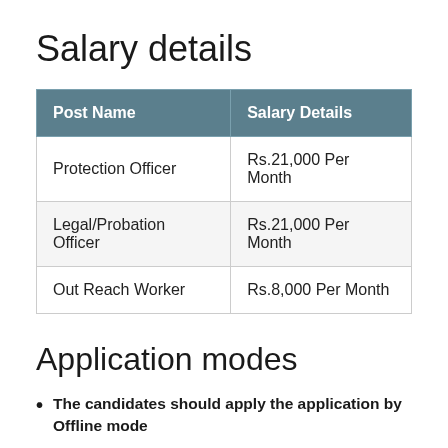Salary details
| Post Name | Salary Details |
| --- | --- |
| Protection Officer | Rs.21,000 Per Month |
| Legal/Probation Officer | Rs.21,000 Per Month |
| Out Reach Worker | Rs.8,000 Per Month |
Application modes
The candidates should apply the application by Offline mode